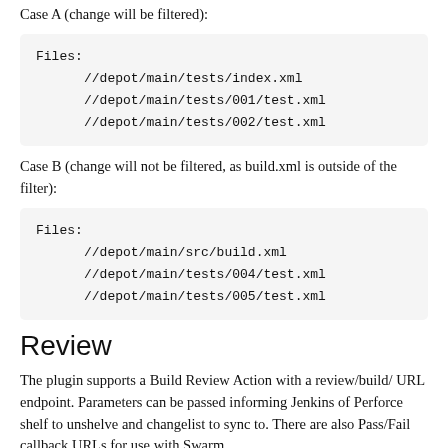Case A (change will be filtered):
Files:
    //depot/main/tests/index.xml
    //depot/main/tests/001/test.xml
    //depot/main/tests/002/test.xml
Case B (change will not be filtered, as build.xml is outside of the filter):
Files:
    //depot/main/src/build.xml
    //depot/main/tests/004/test.xml
    //depot/main/tests/005/test.xml
Review
The plugin supports a Build Review Action with a review/build/ URL endpoint. Parameters can be passed informing Jenkins of Perforce shelf to unshelve and changelist to sync to. There are also Pass/Fail callback URLs for use with Swarm.